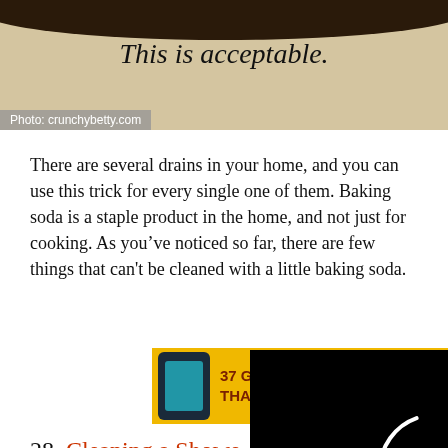[Figure (photo): Top portion of a photo with beige/tan background showing text 'This is acceptable.' with a photo credit overlay reading 'Photo: crunchybetty.com']
Photo: crunchybetty.com
There are several drains in your home, and you can use this trick for every single one of them. Baking soda is a staple product in the home, and not just for cooking. As you've noticed so far, there are few things that can't be cleaned with a little baking soda.
[Figure (screenshot): Advertisement banner with yellow background showing a supplement bottle and text '37 GENIUS AMAZ... THAT CAN BE USB...']
28. Cleaning a Showe...
[Figure (photo): Close-up photo of a chrome/silver shower head against a tan/brown background]
[Figure (screenshot): Black video player overlay with a loading spinner circle and a CLOSE button]